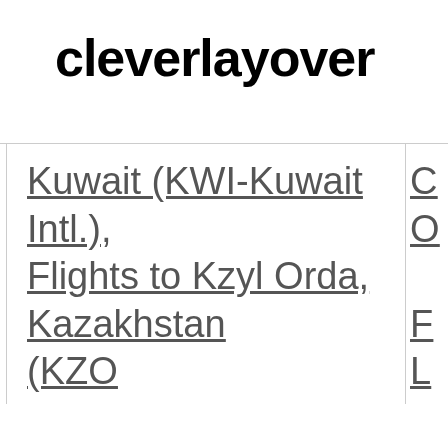cleverlayover
| Kuwait (KWI-Kuwait Intl.), Flights to Kzyl Orda, Kazakhstan (KZO) | … |